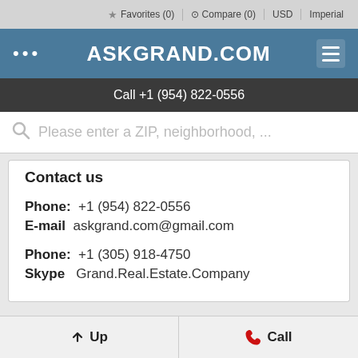Favorites (0)  Compare (0)  USD  Imperial
ASKGRAND.COM
Call +1 (954) 822-0556
Please enter a ZIP, neighborhood, ...
Contact us
Phone:  +1 (954) 822-0556
E-mail  askgrand.com@gmail.com
Phone:  +1 (305) 918-4750
Skype   Grand.Real.Estate.Company
Up  Call